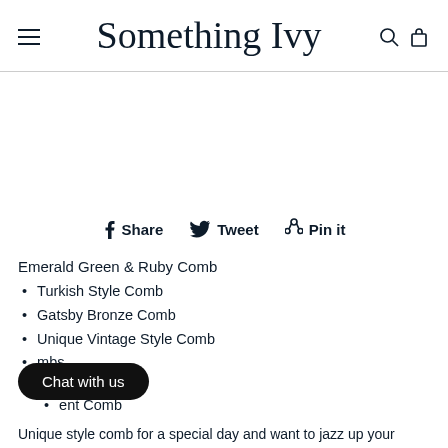Something Ivy
Share   Tweet   Pin it
Emerald Green & Ruby Comb
Turkish Style Comb
Gatsby Bronze Comb
Unique Vintage Style Comb
[partially obscured] mbs
[partially obscured] ent Comb
Unique style comb for a special day and want to jazz up your